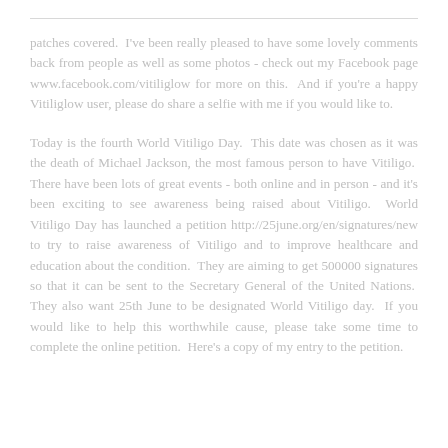patches covered.  I've been really pleased to have some lovely comments back from people as well as some photos - check out my Facebook page www.facebook.com/vitiliglow for more on this.  And if you're a happy Vitiliglow user, please do share a selfie with me if you would like to.
Today is the fourth World Vitiligo Day.  This date was chosen as it was the death of Michael Jackson, the most famous person to have Vitiligo.  There have been lots of great events - both online and in person - and it's been exciting to see awareness being raised about Vitiligo.  World Vitiligo Day has launched a petition http://25june.org/en/signatures/new to try to raise awareness of Vitiligo and to improve healthcare and education about the condition.  They are aiming to get 500000 signatures so that it can be sent to the Secretary General of the United Nations.  They also want 25th June to be designated World Vitiligo day.  If you would like to help this worthwhile cause, please take some time to complete the online petition.  Here's a copy of my entry to the petition.